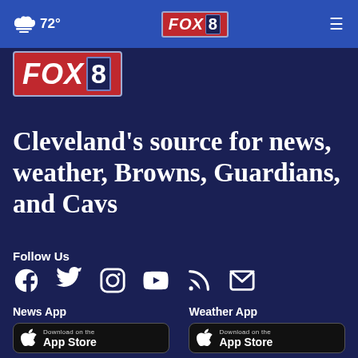☁ 72° | FOX 8 | ☰
[Figure (logo): FOX 8 logo large, red background with white italic FOX text and 8 in dark box]
Cleveland's source for news, weather, Browns, Guardians, and Cavs
Follow Us
[Figure (infographic): Social media icons row: Facebook, Twitter, Instagram, YouTube, RSS, Email]
News App
[Figure (screenshot): Download on the App Store button, black background]
Weather App
[Figure (screenshot): Download on the App Store button, black background]